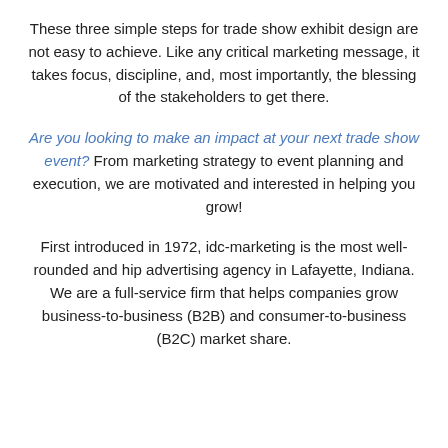These three simple steps for trade show exhibit design are not easy to achieve. Like any critical marketing message, it takes focus, discipline, and, most importantly, the blessing of the stakeholders to get there.
Are you looking to make an impact at your next trade show event? From marketing strategy to event planning and execution, we are motivated and interested in helping you grow!
First introduced in 1972, idc-marketing is the most well-rounded and hip advertising agency in Lafayette, Indiana. We are a full-service firm that helps companies grow business-to-business (B2B) and consumer-to-business (B2C) market share.